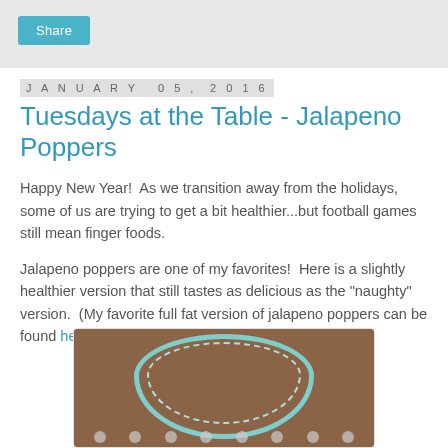Share
January 05, 2016
Tuesdays at the Table - Jalapeno Poppers
Happy New Year!  As we transition away from the holidays, some of us are trying to get a bit healthier...but football games still mean finger foods.
Jalapeno poppers are one of my favorites!  Here is a slightly healthier version that still tastes as delicious as the "naughty" version.  (My favorite full fat version of jalapeno poppers can be found here.)
[Figure (photo): A decorative recipe card with a teal scalloped border on a brown wooden background, with small food illustrations inside.]